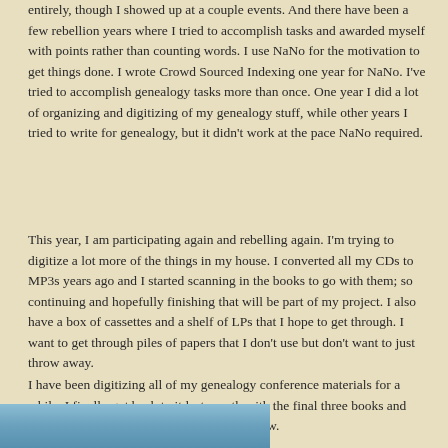entirely, though I showed up at a couple events. And there have been a few rebellion years where I tried to accomplish tasks and awarded myself with points rather than counting words. I use NaNo for the motivation to get things done. I wrote Crowd Sourced Indexing one year for NaNo. I've tried to accomplish genealogy tasks more than once. One year I did a lot of organizing and digitizing of my genealogy stuff, while other years I tried to write for genealogy, but it didn't work at the pace NaNo required.
This year, I am participating again and rebelling again. I'm trying to digitize a lot more of the things in my house. I converted all my CDs to MP3s years ago and I started scanning in the books to go with them; so continuing and hopefully finishing that will be part of my project. I also have a box of cassettes and a shelf of LPs that I hope to get through. I want to get through piles of papers that I don't use but don't want to just throw away.
I have been digitizing all of my genealogy conference materials for a while. I finally got back to it last month with the final three books and began NaNo with one book left. It's done now.
[Figure (photo): Partial image visible at bottom of page, appears to show a book or printed material with blue/teal coloring]